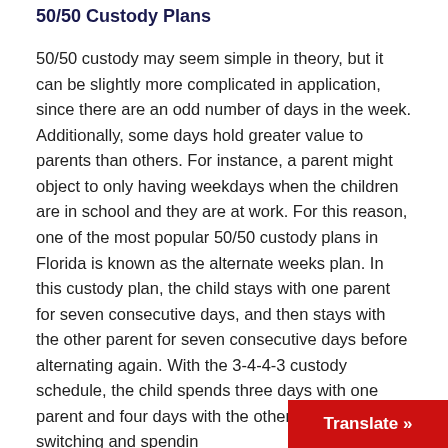50/50 Custody Plans
50/50 custody may seem simple in theory, but it can be slightly more complicated in application, since there are an odd number of days in the week. Additionally, some days hold greater value to parents than others. For instance, a parent might object to only having weekdays when the children are in school and they are at work. For this reason, one of the most popular 50/50 custody plans in Florida is known as the alternate weeks plan. In this custody plan, the child stays with one parent for seven consecutive days, and then stays with the other parent for seven consecutive days before alternating again. With the 3-4-4-3 custody schedule, the child spends three days with one parent and four days with the other, before switching and spending